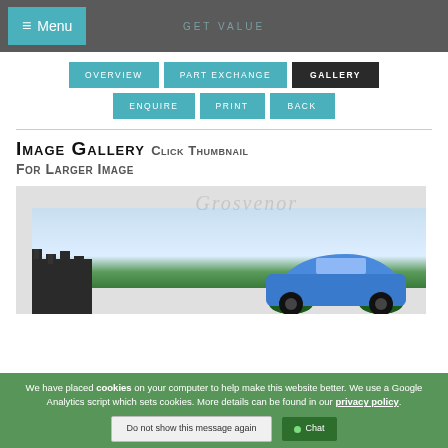GET VALUE | Menu
Overview | Part Exchange | Gallery | Enquire | Print | Back
IMAGE GALLERY Click Thumbnail For Larger Image
[Figure (photo): Car image gallery showing a blue vehicle with castle ruins in background, Grosvenor watermark overlay]
We have placed cookies on your computer to help make this website better. We use a Google Analytics script which sets cookies. More details can be found in our privacy policy.
Do not show this message again | Chat